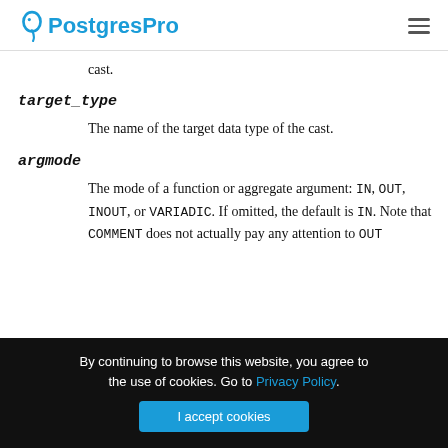PostgresPro
cast.
target_type
The name of the target data type of the cast.
argmode
The mode of a function or aggregate argument: IN, OUT, INOUT, or VARIADIC. If omitted, the default is IN. Note that COMMENT does not actually pay any attention to OUT
By continuing to browse this website, you agree to the use of cookies. Go to Privacy Policy.